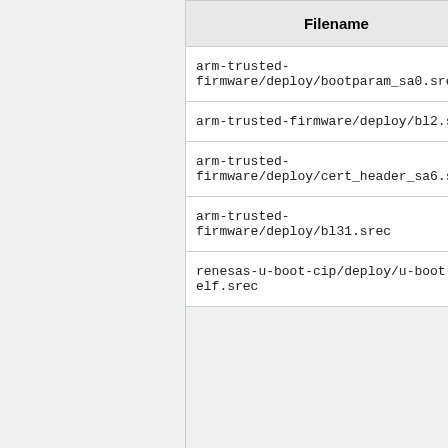| Filename |
| --- |
| arm-trusted-firmware/deploy/bootparam_sa0.srec |
| arm-trusted-firmware/deploy/bl2.srec |
| arm-trusted-firmware/deploy/cert_header_sa6.srec |
| arm-trusted-firmware/deploy/bl31.srec |
| renesas-u-boot-cip/deploy/u-boot-elf.srec |
Use EM_W command to write S-record file...
>EM_W
EM_W Start --------------
--------------------------------
Please select,eMMC Partition
 0:User Partition Area  : 30
  eMMC Sector Cnt : H'0 - H'0
 1:Boot Partition 1      : 1...